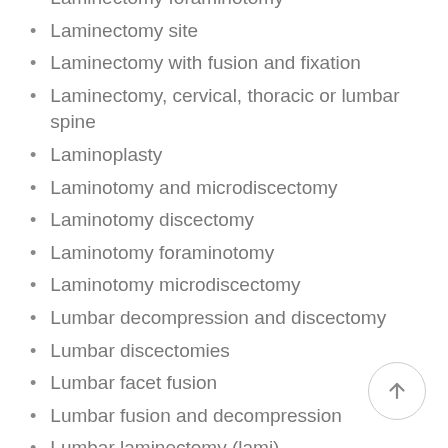Laminectomy foraminotomy
Laminectomy site
Laminectomy with fusion and fixation
Laminectomy, cervical, thoracic or lumbar spine
Laminoplasty
Laminotomy and microdiscectomy
Laminotomy discectomy
Laminotomy foraminotomy
Laminotomy microdiscectomy
Lumbar decompression and discectomy
Lumbar discectomies
Lumbar facet fusion
Lumbar fusion and decompression
Lumbar laminectomy (lami)
Lumbar laminectomy and decompression
Lumbar laminectomy and discectomy
Lumbar laminectomy and fusion